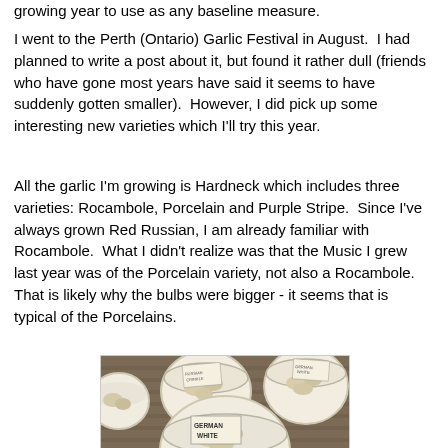growing year to use as any baseline measure.
I went to the Perth (Ontario) Garlic Festival in August.  I had planned to write a post about it, but found it rather dull (friends who have gone most years have said it seems to have suddenly gotten smaller).  However, I did pick up some interesting new varieties which I'll try this year.
All the garlic I'm growing is Hardneck which includes three varieties: Rocambole, Porcelain and Purple Stripe.  Since I've always grown Red Russian, I am already familiar with Rocambole.  What I didn't realize was that the Music I grew last year was of the Porcelain variety, not also a Rocambole.  That is likely why the bulbs were bigger - it seems that is typical of the Porcelains.
[Figure (photo): Photo of several white ceramic bowls containing garlic cloves with handwritten label cards. One label visible reads 'GERMAN WHITE'. Bowls are sitting on a wooden slatted surface.]